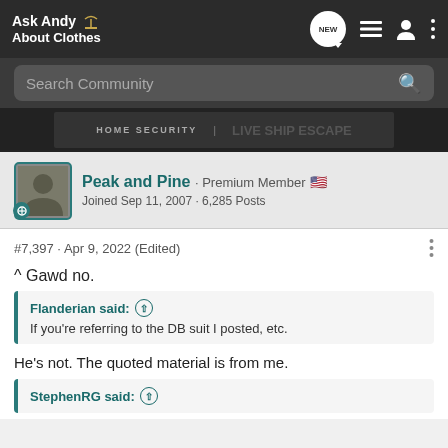Ask Andy About Clothes
Search Community
[Figure (screenshot): Partially visible advertisement banner showing HOME SECURITY text]
Peak and Pine · Premium Member
Joined Sep 11, 2007 · 6,285 Posts
#7,397 · Apr 9, 2022 (Edited)
^ Gawd no.
Flanderian said: ↑
If you're referring to the DB suit I posted, etc.
He's not. The quoted material is from me.
StephenRG said: ↑